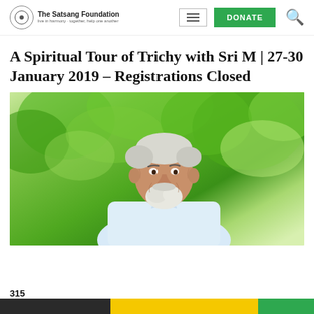The Satsang Foundation | DONATE
A Spiritual Tour of Trichy with Sri M | 27-30 January 2019 – Registrations Closed
[Figure (photo): Smiling elderly man (Sri M) with white hair and beard, wearing a light blue shirt, photographed outdoors against a green leafy background.]